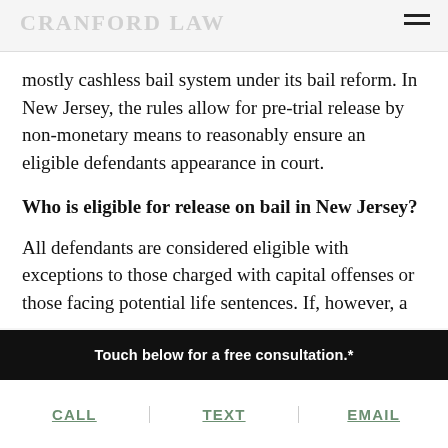CRANFORD LAW
mostly cashless bail system under its bail reform. In New Jersey, the rules allow for pre-trial release by non-monetary means to reasonably ensure an eligible defendants appearance in court.
Who is eligible for release on bail in New Jersey?
All defendants are considered eligible with exceptions to those charged with capital offenses or those facing potential life sentences. If, however, a
Touch below for a free consultation.*
CALL   TEXT   EMAIL